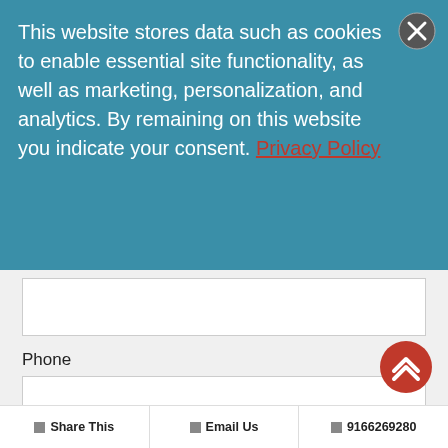This website stores data such as cookies to enable essential site functionality, as well as marketing, personalization, and analytics. By remaining on this website you indicate your consent. Privacy Policy
Phone
Zip*
Country Name*
Share This | Email Us | 9166269280